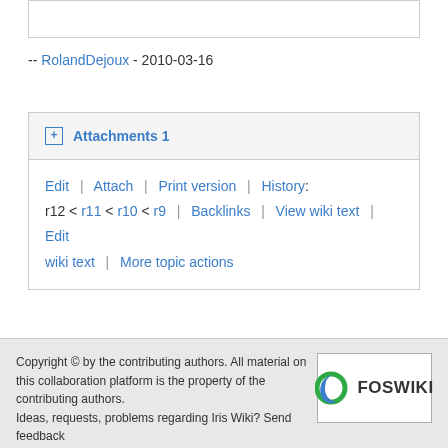-- RolandDejoux - 2010-03-16
Attachments 1
Edit | Attach | Print version | History: r12 < r11 < r10 < r9 | Backlinks | View wiki text | Edit wiki text | More topic actions
Copyright © by the contributing authors. All material on this collaboration platform is the property of the contributing authors. Ideas, requests, problems regarding Iris Wiki? Send feedback